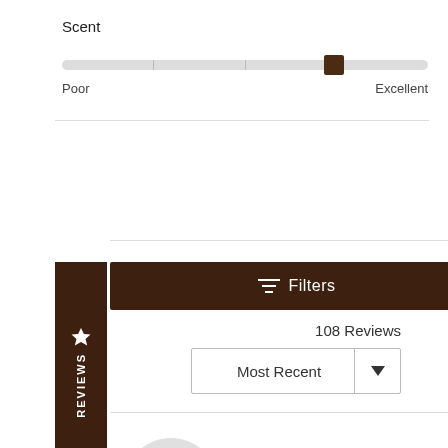Scent
[Figure (other): Horizontal slider/scale bar for Scent rating, positioned approximately 75% from left (towards Excellent end), with labels Poor on left and Excellent on right]
[Figure (other): Dark brown horizontal Filters button bar with filter icon and text 'Filters']
[Figure (other): Dark brown vertical tab on left side reading 'REVIEWS' with a star icon]
108 Reviews
[Figure (other): Dropdown selector showing 'Most Recent' with down arrow]
[Figure (other): Light gray circle avatar with initials LK]
Lori K.
Verified Buyer
I recommend this product